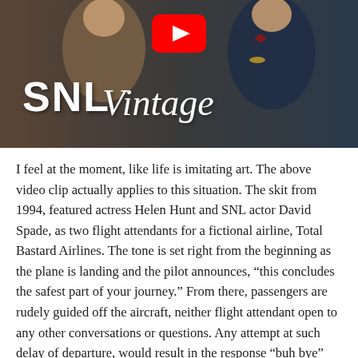[Figure (screenshot): YouTube thumbnail for 'SNL Vintage' channel showing two people in costumes (flight attendants) with a red YouTube play button icon at the top center and 'SNL Vintage' text overlay at the bottom left.]
I feel at the moment, like life is imitating art. The above video clip actually applies to this situation. The skit from 1994, featured actress Helen Hunt and SNL actor David Spade, as two flight attendants for a fictional airline, Total Bastard Airlines. The tone is set right from the beginning as the plane is landing and the pilot announces, “this concludes the safest part of your journey.” From there, passengers are rudely guided off the aircraft, neither flight attendant open to any other conversations or questions. Any attempt at such delay of departure, would result in the response “buh bye” from either or both flight attendants.